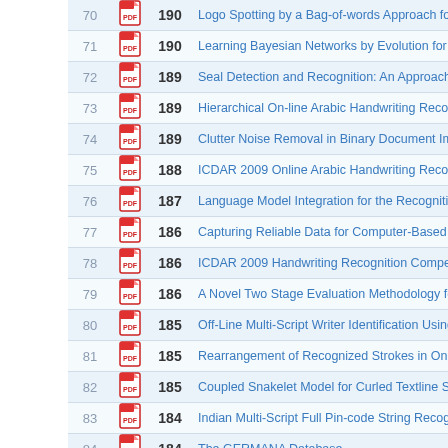| # | PDF | Score | Title |
| --- | --- | --- | --- |
| 70 | pdf | 190 | Logo Spotting by a Bag-of-words Approach for Docu… |
| 71 | pdf | 190 | Learning Bayesian Networks by Evolution for Classifi… |
| 72 | pdf | 189 | Seal Detection and Recognition: An Approach for Do… |
| 73 | pdf | 189 | Hierarchical On-line Arabic Handwriting Recognition… |
| 74 | pdf | 189 | Clutter Noise Removal in Binary Document Images |
| 75 | pdf | 188 | ICDAR 2009 Online Arabic Handwriting Recognition… |
| 76 | pdf | 187 | Language Model Integration for the Recognition of H… |
| 77 | pdf | 186 | Capturing Reliable Data for Computer-Based Forensi… |
| 78 | pdf | 186 | ICDAR 2009 Handwriting Recognition Competition … |
| 79 | pdf | 186 | A Novel Two Stage Evaluation Methodology for Wor… |
| 80 | pdf | 185 | Off-Line Multi-Script Writer Identification Using AR… |
| 81 | pdf | 185 | Rearrangement of Recognized Strokes in Online Han… |
| 82 | pdf | 185 | Coupled Snakelet Model for Curled Textline Segment… |
| 83 | pdf | 184 | Indian Multi-Script Full Pin-code String Recognition |
| 84 | pdf | 184 | The GERMANA Database |
| 85 | pdf | 184 | A New Arabic Printed Text Image Database and Evalu… |